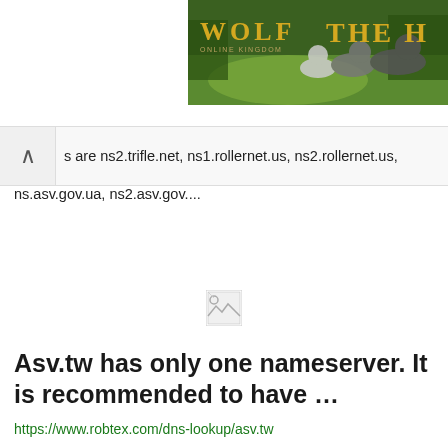[Figure (photo): Wolf game advertisement banner showing wolves in a meadow with golden text 'WOLF' and 'THE H' partially visible]
s are ns2.trifle.net, ns1.rollernet.us, ns2.rollernet.us, ns.asv.gov.ua, ns2.asv.gov....
[Figure (other): Broken image icon (small landscape placeholder)]
Asv.tw has only one nameserver. It is recommended to have …
https://www.robtex.com/dns-lookup/asv.tw
Asv.tw has only one nameserver. It is recommended to have at least two. A secondary nameserver is recommended (DNS redundancy). The